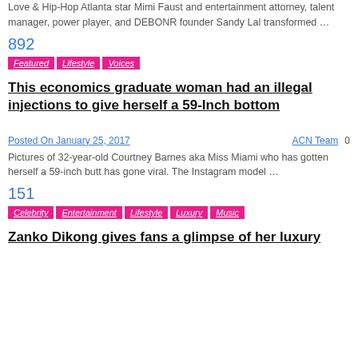Love & Hip-Hop Atlanta star Mimi Faust and entertainment attorney, talent manager, power player, and DEBONR founder Sandy Lal transformed …
892
Featured  Lifestyle  Voices
This economics graduate woman had an illegal injections to give herself a 59-Inch bottom
Posted On January 25, 2017   ACN Team 0
Pictures of 32-year-old Courtney Barnes aka Miss Miami who has gotten herself a 59-inch butt has gone viral. The Instagram model …
151
Celebrity  Entertainment  Lifestyle  Luxury  Music
Zanko Dikong gives fans a glimpse of her luxury